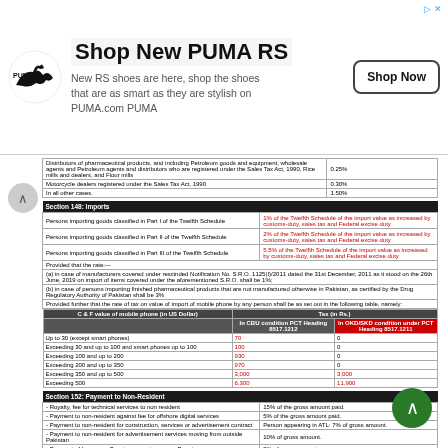[Figure (other): PUMA advertisement banner with logo, text 'Shop New PUMA RS', and Shop Now button]
| Distributors of pharmaceutical products, and including Petroleum goods and equipment, Wholesale agents and Petroleum agents and distributors who are registered under the Sales Tax Act, 1990, Rice mills and dealers, and Flour mills | 0.25% |
| Motorcycle dealers registered under the Sales Tax Act, 1990 | 0.30% |
| In all other cases | 1.50% |
| Section 148: Imports |  |
| --- | --- |
| Persons importing goods classified in Part I of the Twelfth Schedule | 1% of the Twelfth Schedule of the import value as increased by customs-duty, sales tax and Federal excise duty |
| Persons importing goods classified in Part II of the Twelfth Schedule | 2% of the Twelfth Schedule of the import value as increased by customs-duty, sales tax and Federal excise duty |
| Persons importing goods classified in Part III of the Twelfth Schedule | 5.5% of the Twelfth Schedule of the import value as increased by customs-duty, sales tax and Federal excise duty |
| Provided that the rate:— |  |
| (a) in case of manufacturers covered under rescinded Notification No. S.R.O. 1125(I)/2011 dated the 31st December, 2011 as it stood on the 26th June, 2019 on import of items covered under the aforementioned S.R.O. shall be 1%; |  |
| (b) in case of persons importing finished pharmaceutical products that are not manufactured otherwise in Pakistan, as certified by the Drug Regulatory Authority of Pakistan shall be 3% |  |
| Provided further that the rate of tax on value of import of mobile phone by any person shall be as set out in the following table, namely: |  |
| C & F value of mobile phone (in US Dollar) | Tax (in Rs.) In CBU condition PCT Heading 8517.1212 | In OKD/SKD condition under PCT Heading 8517.1211 |
| --- | --- | --- |
| Up to 30 (except smart phones) | 70 | 0 |
| Exceeding 30 and up to 100 and smart phones up to 100 | 100 | 0 |
| Exceeding 100 and up to 200 | 930 | 0 |
| Exceeding 200 and up to 350 | 970 | 0 |
| Exceeding 350 and up to 500 | 3,000 | 3,000 |
| Exceeding 500 | 6,300 | 11,900 |
| Section 152: Payment to Non-Resident |  |
| --- | --- |
| - Royalty, fee for technical services to non resident | 15% of the gross amount paid. |
| - Payment to non-resident against fee for offshore digital services | 5% of the gross amount paid. |
| - Payment to non-resident for construction, services or advertisement contract | Person appearing in ATL: 7% of gross amount. |
| - Payment to non-resident for advertisement services moving from outside Pakistan | 10% of gross amount. |
| - Payment of Insurance Premium or re-insurance Premium | 5% of gross amount. |
| - All other payment to non-resident | 20% of the gross amount paid. |
| - Payment to PE of Non-resident |  |